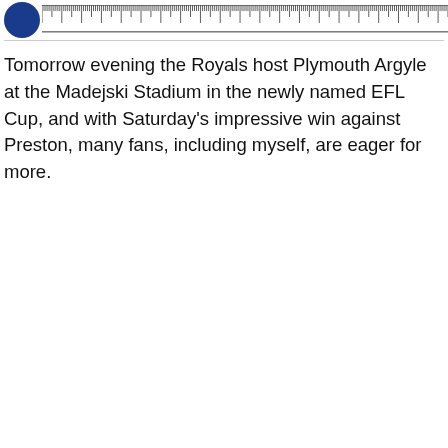[Logo and ruler/scale bar]
Tomorrow evening the Royals host Plymouth Argyle at the Madejski Stadium in the newly named EFL Cup, and with Saturday's impressive win against Preston, many fans, including myself, are eager for more.